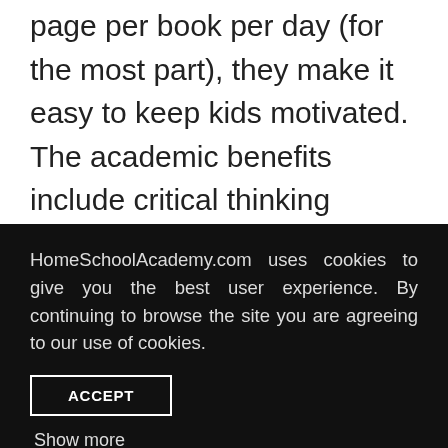page per book per day (for the most part), they make it easy to keep kids motivated. The academic benefits include critical thinking exercises; strong foundation in the skills used to read well including decoding, patterns, and phonemic awareness; clear and simple instructions; repetitive practice activities; creative use of writing exercises; and challenging
HomeSchoolAcademy.com uses cookies to give you the best user experience. By continuing to browse the site you are agreeing to our use of cookies.
ACCEPT
Show more